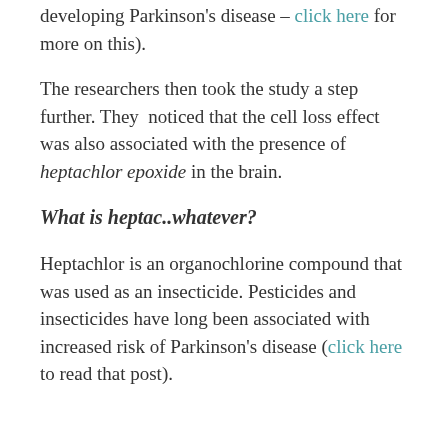(…) developing Parkinson's disease – click here for more on this).
The researchers then took the study a step further. They noticed that the cell loss effect was also associated with the presence of heptachlor epoxide in the brain.
What is heptac..whatever?
Heptachlor is an organochlorine compound that was used as an insecticide. Pesticides and insecticides have long been associated with increased risk of Parkinson's disease (click here to read that post).